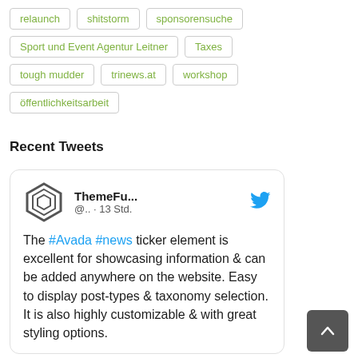relaunch
shitstorm
sponsorensuche
Sport und Event Agentur Leitner
Taxes
tough mudder
trinews.at
workshop
öffentlichkeitsarbeit
Recent Tweets
[Figure (screenshot): Embedded tweet card from ThemeFu... (@.. · 13 Std.) with Twitter bird logo and ThemeFusion hexagon logo. Tweet text: The #Avada #news ticker element is excellent for showcasing information & can be added anywhere on the website. Easy to display post-types & taxonomy selection. It is also highly customizable & with great styling options.]